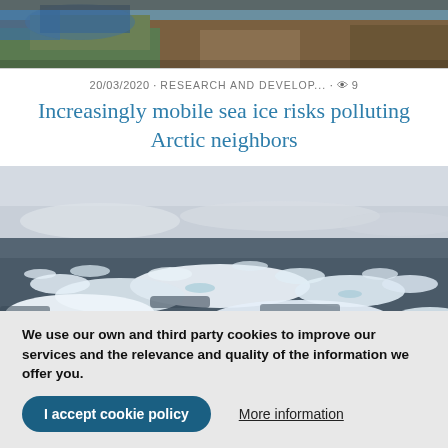[Figure (photo): Aerial or satellite image of a coastal/arctic landscape with brown/green terrain and blue water visible at top of page]
20/03/2020 · RESEARCH AND DEVELOP... · 👁 9
Increasingly mobile sea ice risks polluting Arctic neighbors
[Figure (photo): Wide panoramic photo of Arctic sea ice — floating white ice chunks spread across dark Arctic ocean water under an overcast sky]
We use our own and third party cookies to improve our services and the relevance and quality of the information we offer you.
I accept cookie policy    More information